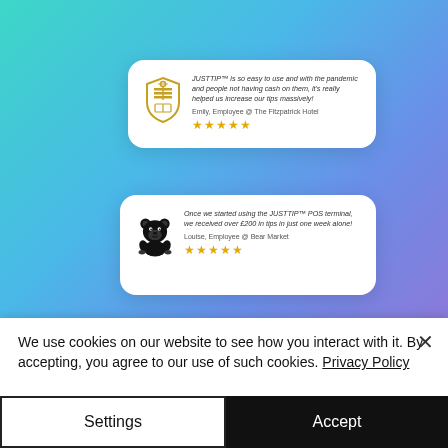[Figure (screenshot): Website screenshot showing a teal-to-purple gradient background with two white review cards. Card 1 has a Fitzpatrick Hotel shield logo and review by Emily. Card 2 has a Bear Market bear logo and review by Louise. A cookie consent banner overlays the bottom portion with Settings and Accept buttons.]
JUSTTIP™ is so easy to use and with the pandemic and people not having cash on them, it's really helped us increase our tips massively!

Emily, Employee @ The Fitzpatrick Hotel
★★★★★
Once we started using the JUSTTIP™ POS terminal, we received over £200 in tips in just one week alone!

Louise, Employee @ Bear Market
★★★★★
We use cookies on our website to see how you interact with it. By accepting, you agree to our use of such cookies. Privacy Policy